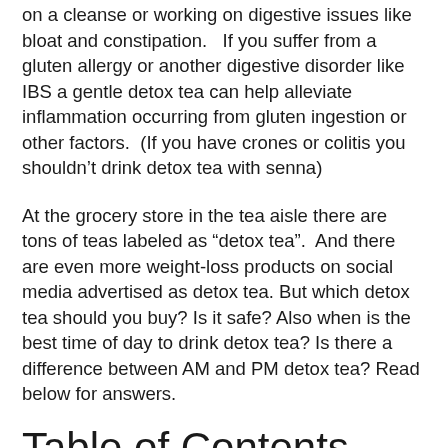on a cleanse or working on digestive issues like bloat and constipation.   If you suffer from a gluten allergy or another digestive disorder like IBS a gentle detox tea can help alleviate inflammation occurring from gluten ingestion or other factors.  (If you have crones or colitis you shouldn't drink detox tea with senna)
At the grocery store in the tea aisle there are tons of teas labeled as “detox tea”.  And there are even more weight-loss products on social media advertised as detox tea. But which detox tea should you buy? Is it safe? Also when is the best time of day to drink detox tea? Is there a difference between AM and PM detox tea? Read below for answers.
Table of Contents